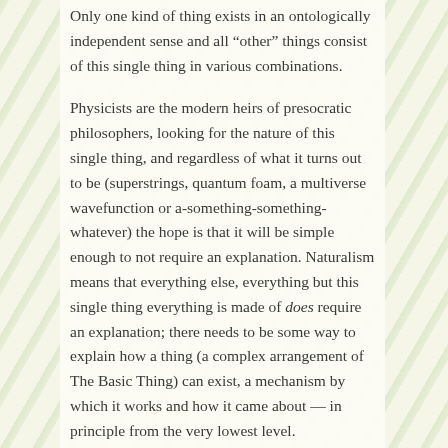Only one kind of thing exists in an ontologically independent sense and all “other” things consist of this single thing in various combinations.
Physicists are the modern heirs of presocratic philosophers, looking for the nature of this single thing, and regardless of what it turns out to be (superstrings, quantum foam, a multiverse wavefunction or a-something-something-whatever) the hope is that it will be simple enough to not require an explanation. Naturalism means that everything else, everything but this single thing everything is made of does require an explanation; there needs to be some way to explain how a thing (a complex arrangement of The Basic Thing) can exist, a mechanism by which it works and how it came about — in principle from the very lowest level.